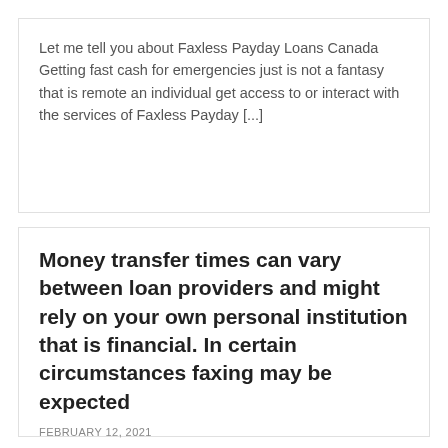Let me tell you about Faxless Payday Loans Canada Getting fast cash for emergencies just is not a fantasy that is remote an individual get access to or interact with the services of Faxless Payday [...]
Money transfer times can vary between loan providers and might rely on your own personal institution that is financial. In certain circumstances faxing may be expected
FEBRUARY 12, 2021